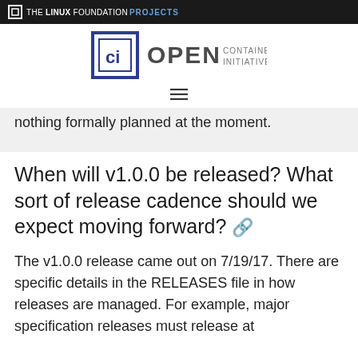THE LINUX FOUNDATION PROJECTS
[Figure (logo): Open Container Initiative (OCI) logo — square bracket icon with 'ci' and text OPEN CONTAINER INITIATIVE]
nothing formally planned at the moment.
When will v1.0.0 be released? What sort of release cadence should we expect moving forward?
The v1.0.0 release came out on 7/19/17. There are specific details in the RELEASES file in how releases are managed. For example, major specification releases must release at